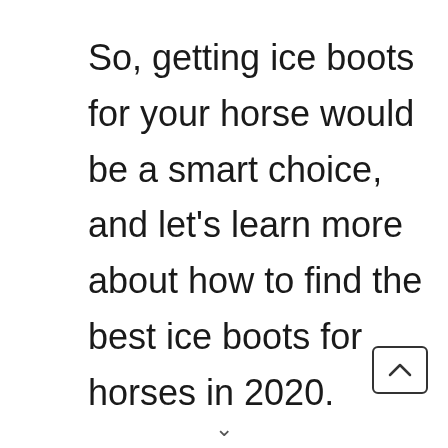So, getting ice boots for your horse would be a smart choice, and let's learn more about how to find the best ice boots for horses in 2020.